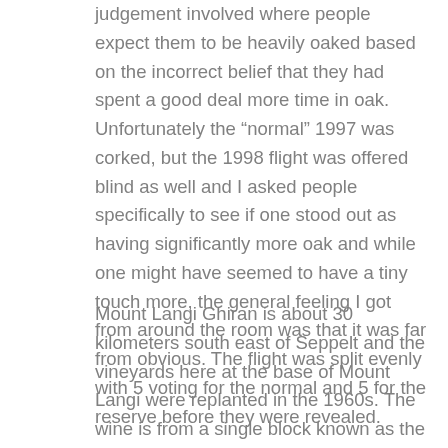judgement involved where people expect them to be heavily oaked based on the incorrect belief that they had spent a good deal more time in oak. Unfortunately the “normal” 1997 was corked, but the 1998 flight was offered blind as well and I asked people specifically to see if one stood out as having significantly more oak and while one might have seemed to have a tiny touch more, the general feeling I got from around the room was that it was far from obvious. The flight was split evenly with 5 voting for the normal and 5 for the reserve before they were revealed.
Mount Langi Ghiran is about 30 kilometers south east of Seppelt and the vineyards here at the base of Mount Langi were replanted in the 1960s. The wine is from a single block known as the “Old block”, planted to “swiss clone” material sourced from Best’s Great Western Concongella Vineyard. The clone is